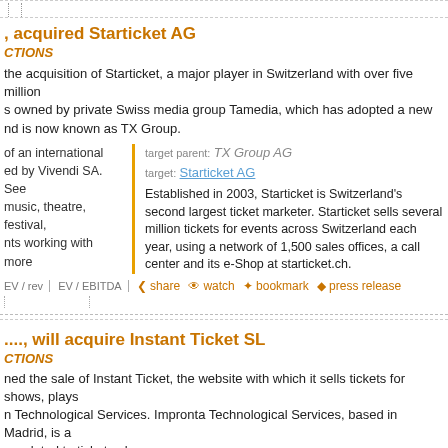..., acquired Starticket AG
CTIONS
the acquisition of Starticket, a major player in Switzerland with over five million s owned by private Swiss media group Tamedia, which has adopted a new nd is now known as TX Group.
target parent: TX Group AG
target: Starticket AG
Established in 2003, Starticket is Switzerland's second largest ticket marketer. Starticket sells several million tickets for events across Switzerland each year, using a network of 1,500 sales offices, a call center and its e-Shop at starticket.ch.
of an international
ed by Vivendi SA. See
music, theatre, festival,
nts working with more
EV / rev  EV / EBITDA  share  watch  bookmark  press release
...., will acquire Instant Ticket SL
CTIONS
ned the sale of Instant Ticket, the website with which it sells tickets for shows, plays n Technological Services. Impronta Technological Services, based in Madrid, is a re related to ticket sales.